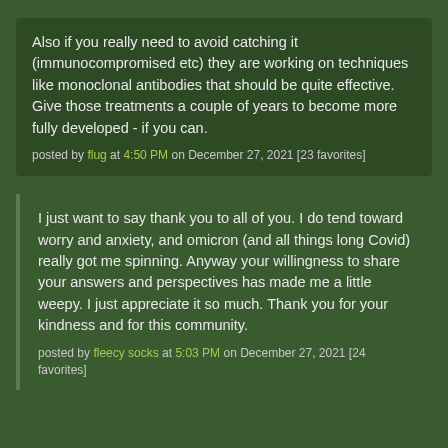Also if you really need to avoid catching it (immunocompromised etc) they are working on techniques like monoclonal antibodies that should be quite effective. Give those treatments a couple of years to become more fully developed - if you can.
posted by flug at 4:50 PM on December 27, 2021 [23 favorites]
I just want to say thank you to all of you. I do tend toward worry and anxiety, and omicron (and all things long Covid) really got me spinning. Anyway your willingness to share your answers and perspectives has made me a little weepy. I just appreciate it so much. Thank you for your kindness and for this community.
posted by fleecy socks at 5:03 PM on December 27, 2021 [24 favorites]